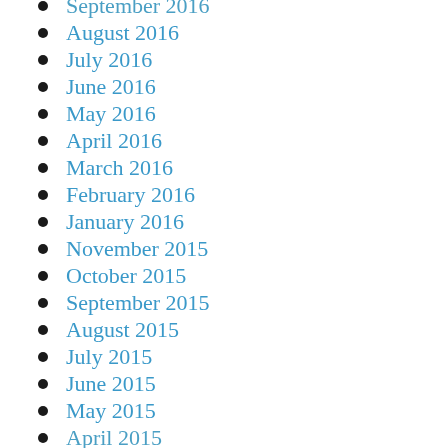September 2016
August 2016
July 2016
June 2016
May 2016
April 2016
March 2016
February 2016
January 2016
November 2015
October 2015
September 2015
August 2015
July 2015
June 2015
May 2015
April 2015